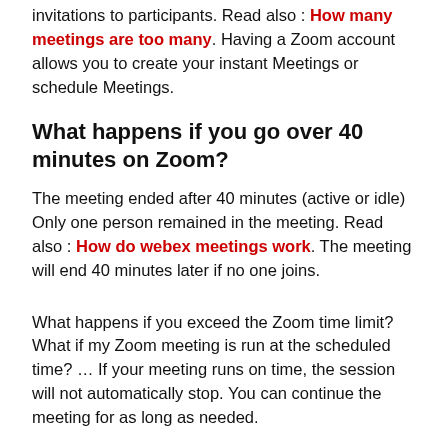invitations to participants. Read also : How many meetings are too many. Having a Zoom account allows you to create your instant Meetings or schedule Meetings.
What happens if you go over 40 minutes on Zoom?
The meeting ended after 40 minutes (active or idle) Only one person remained in the meeting. Read also : How do webex meetings work. The meeting will end 40 minutes later if no one joins.
What happens if you exceed the Zoom time limit? What if my Zoom meeting is run at the scheduled time? … If your meeting runs on time, the session will not automatically stop. You can continue the meeting for as long as needed.
How much does it cost to zoom if you take more than 40